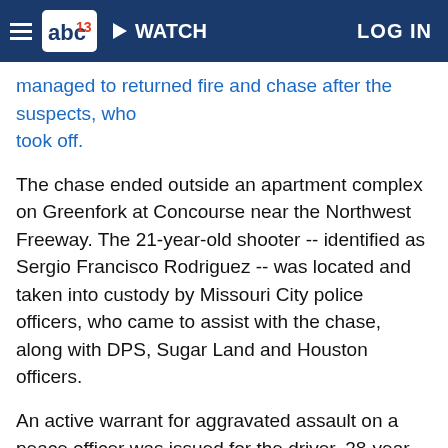abc13 WATCH LOG IN
managed to returned fire and chase after the suspects, who took off.
The chase ended outside an apartment complex on Greenfork at Concourse near the Northwest Freeway. The 21-year-old shooter -- identified as Sergio Francisco Rodriguez -- was located and taken into custody by Missouri City police officers, who came to assist with the chase, along with DPS, Sugar Land and Houston officers.
An active warrant for aggravated assault on a peace officer was issued for the driver, 28-year-old Freddy Henriquez. And on Monday, Daniel Cruz (aka, Jose Luis Cruz) was named as a person of interest.
Cruz has 'Houstone' tattooed on the back and side of his